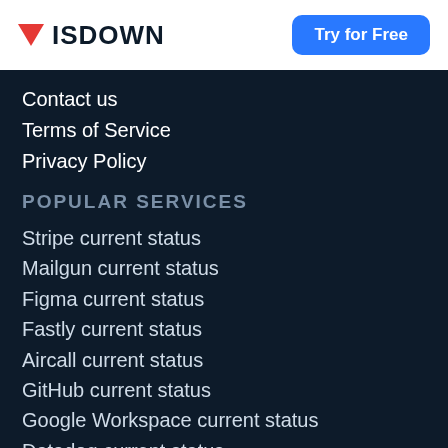ISDOWN | Try for Free
Contact us
Terms of Service
Privacy Policy
POPULAR SERVICES
Stripe current status
Mailgun current status
Figma current status
Fastly current status
Aircall current status
GitHub current status
Google Workspace current status
Datadog current status
HubSpot current status
Zendesk current status